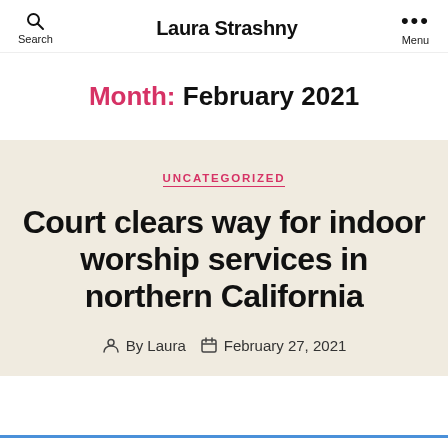Laura Strashny
Month: February 2021
UNCATEGORIZED
Court clears way for indoor worship services in northern California
By Laura  February 27, 2021